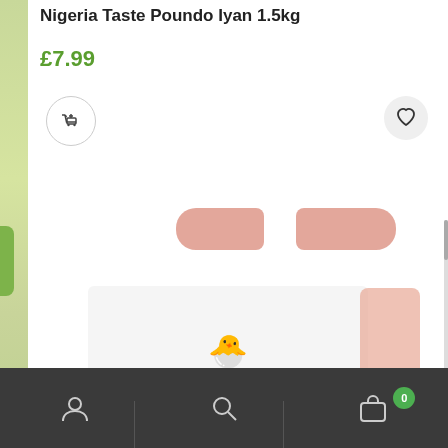Nigeria Taste Poundo Iyan 1.5kg
£7.99
[Figure (screenshot): E-commerce product page showing Nigeria Taste Poundo Iyan 1.5kg with price £7.99, add to cart button, wishlist heart button, and partial product image below]
Account | Search | Cart (0)